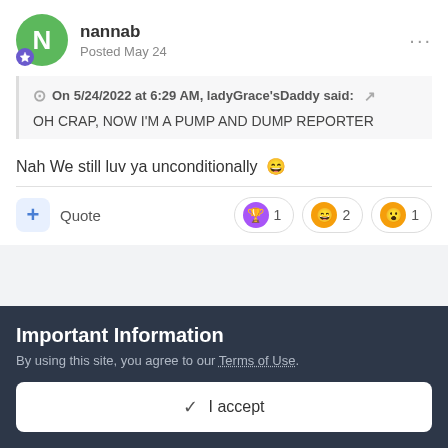nannab
Posted May 24
On 5/24/2022 at 6:29 AM, ladyGrace'sDaddy said:
OH CRAP, NOW I'M A PUMP AND DUMP REPORTER
Nah We still luv ya unconditionally 😄
+ Quote  🏆 1  😄 2  😮 1
Important Information
By using this site, you agree to our Terms of Use.
✓ I accept